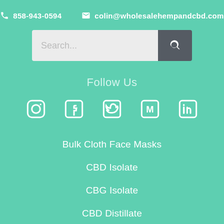858-943-0594
colin@wholesalehempandcbd.com
Search...
Follow Us
[Figure (infographic): Social media icons: Instagram, Facebook, Twitter, Medium, LinkedIn]
Bulk Cloth Face Masks
CBD Isolate
CBG Isolate
CBD Distillate